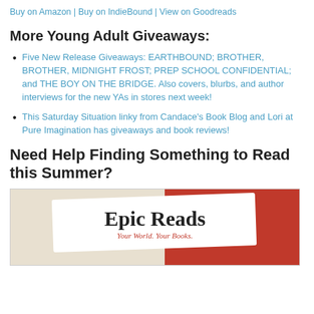Buy on Amazon | Buy on IndieBound | View on Goodreads
More Young Adult Giveaways:
Five New Release Giveaways: EARTHBOUND; BROTHER, BROTHER, MIDNIGHT FROST; PREP SCHOOL CONFIDENTIAL; and THE BOY ON THE BRIDGE. Also covers, blurbs, and author interviews for the new YAs in stores next week!
This Saturday Situation linky from Candace's Book Blog and Lori at Pure Imagination has giveaways and book reviews!
Need Help Finding Something to Read this Summer?
[Figure (photo): Epic Reads banner image showing 'Epic Reads — Your World. Your Books.' logo on a light/orange background]